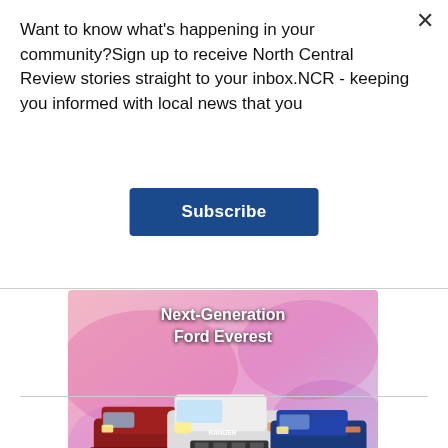Want to know what's happening in your community?Sign up to receive North Central Review stories straight to your inbox.NCR - keeping you informed with local news that you
Subscribe
[Figure (illustration): Advertisement for Next-Generation Ford Everest featuring three SUVs (red, white, blue) on a pink/purple smoky background. Ford logo, Central Ford Kilmore branding, and FIND OUT MORE button visible.]